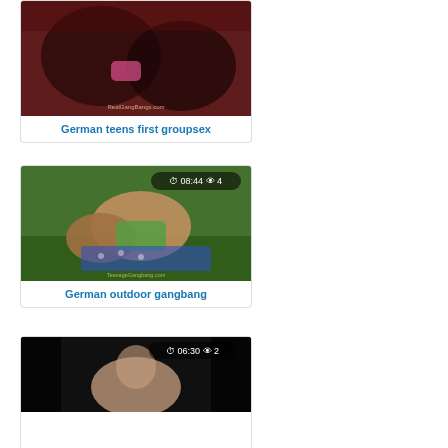[Figure (photo): Video thumbnail showing group scene with pink/red tones, watermark RealGangBangs.com]
German teens first groupsex
[Figure (photo): Video thumbnail showing outdoor scene, badge: 08:44 and 4 views]
German outdoor gangbang
[Figure (photo): Video thumbnail showing dark background scene, badge: 06:30 and 2 views]